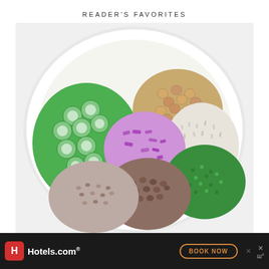READER'S FAVORITES
[Figure (photo): A white bowl viewed from above containing arranged sections of sliced cucumbers, chickpeas, white rice or grain, diced red onion, chopped green herbs (parsley), lentils, and bulgur wheat or similar grains.]
The Jennifer Aniston Friends Salad
[Figure (other): Hotels.com advertisement banner with red logo, Hotels.com text, and orange BOOK NOW button on dark background.]